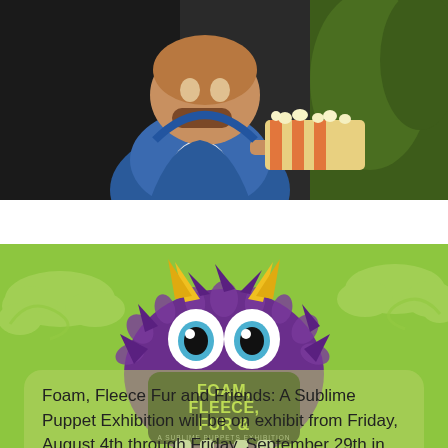[Figure (photo): A puppet character resembling a small figure in a blue hoodie and white shirt holding a tray of popcorn, photographed against a dark background.]
[Figure (illustration): A purple fuzzy monster character with large white eyes, yellow horns, and a black sign in its mouth reading 'FOAM, FLEECE, FUR & FRIENDS – A Sublime Puppets Exhibition', set against a bright green background with lighter green cloud shapes.]
Foam, Fleece Fur and Friends: A Sublime Puppet Exhibition will be on exhibit from Friday, August 4th through Friday, September 29th in the